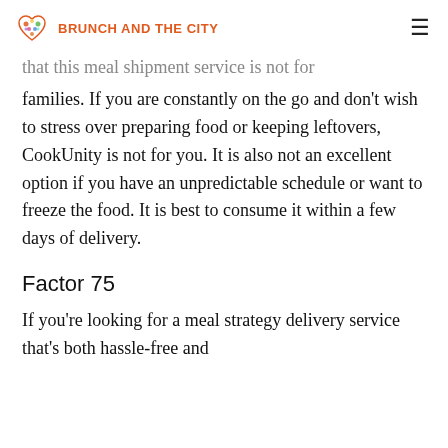BRUNCH AND THE CITY
that this meal shipment service is not for families. If you are constantly on the go and don't wish to stress over preparing food or keeping leftovers, CookUnity is not for you. It is also not an excellent option if you have an unpredictable schedule or want to freeze the food. It is best to consume it within a few days of delivery.
Factor 75
If you're looking for a meal strategy delivery service that's both hassle-free and convenient, look no further than Factor 75.